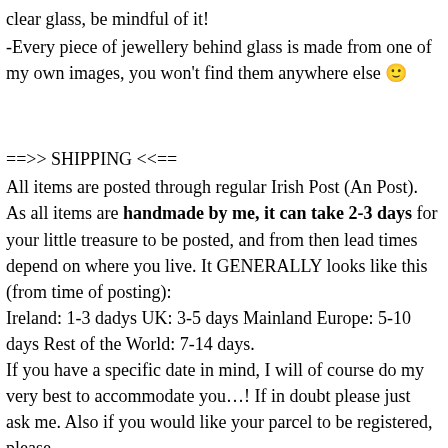clear glass, be mindful of it!
-Every piece of jewellery behind glass is made from one of my own images, you won't find them anywhere else 🙂
==>> SHIPPING <<==
All items are posted through regular Irish Post (An Post). As all items are handmade by me, it can take 2-3 days for your little treasure to be posted, and from then lead times depend on where you live. It GENERALLY looks like this (from time of posting):
Ireland: 1-3 dadys UK: 3-5 days Mainland Europe: 5-10 days Rest of the World: 7-14 days.
If you have a specific date in mind, I will of course do my very best to accommodate you…! If in doubt please just ask me. Also if you would like your parcel to be registered, please